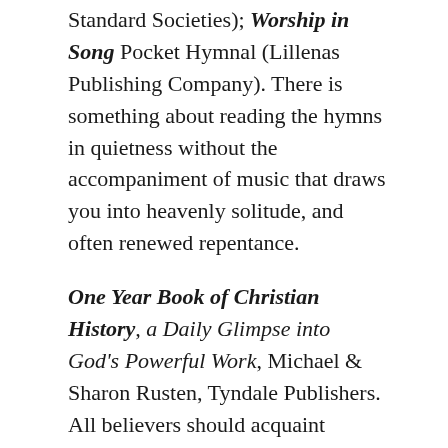Standard Societies); Worship in Song Pocket Hymnal (Lillenas Publishing Company). There is something about reading the hymns in quietness without the accompaniment of music that draws you into heavenly solitude, and often renewed repentance.
One Year Book of Christian History, a Daily Glimpse into God's Powerful Work, Michael & Sharon Rusten, Tyndale Publishers. All believers should acquaint themselves with God's workings in the lives of His saints and His church throughout the centuries. This volume will give you daily glimpses of God's powerful works in the lives of such people as John Harper who shared the gospel message with passengers on the sinking Titanic; Jonathan Edwards and the day he rocked New England with his famous